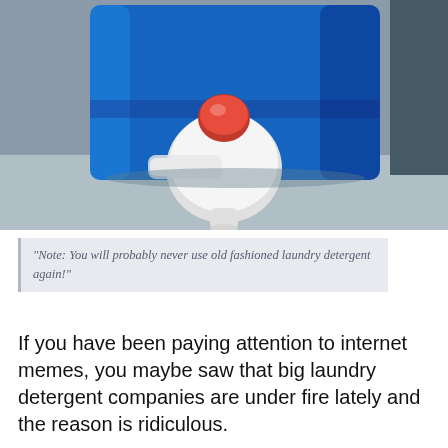[Figure (photo): Close-up photo of a blue plastic laundry detergent container with a white spigot/tap featuring a red button on top, sitting on a grey surface.]
"Note: You will probably never use old fashioned laundry detergent again!"
If you have been paying attention to internet memes, you maybe saw that big laundry detergent companies are under fire lately and the reason is ridiculous.